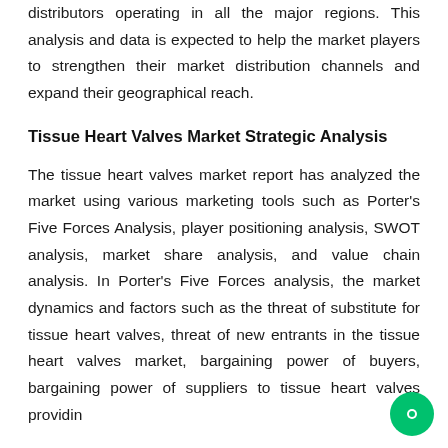distributors operating in all the major regions. This analysis and data is expected to help the market players to strengthen their market distribution channels and expand their geographical reach.
Tissue Heart Valves Market Strategic Analysis
The tissue heart valves market report has analyzed the market using various marketing tools such as Porter's Five Forces Analysis, player positioning analysis, SWOT analysis, market share analysis, and value chain analysis. In Porter's Five Forces analysis, the market dynamics and factors such as the threat of substitute for tissue heart valves, threat of new entrants in the tissue heart valves market, bargaining power of buyers, bargaining power of suppliers to tissue heart valves providing companies, and intensity of competitive the ti...